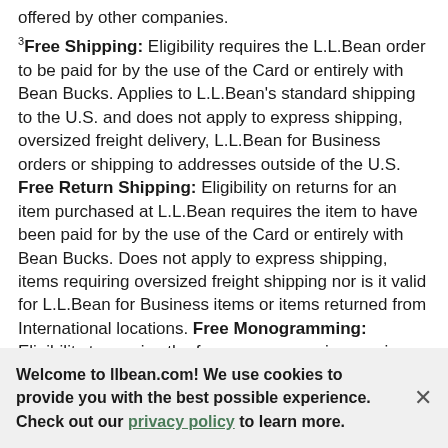offered by other companies.
3 Free Shipping: Eligibility requires the L.L.Bean order to be paid for by the use of the Card or entirely with Bean Bucks. Applies to L.L.Bean's standard shipping to the U.S. and does not apply to express shipping, oversized freight delivery, L.L.Bean for Business orders or shipping to addresses outside of the U.S. Free Return Shipping: Eligibility on returns for an item purchased at L.L.Bean requires the item to have been paid for by the use of the Card or entirely with Bean Bucks. Does not apply to express shipping, items requiring oversized freight shipping nor is it valid for L.L.Bean for Business items or items returned from International locations. Free Monogramming: Eligibility to receive the free monogramming service (“Monogramming”), for those items which have been purchased at L.L.Bean with use of the Card or entirely with Bean Bucks and for which Monogramming is offered. Monogramming does not
Welcome to llbean.com! We use cookies to provide you with the best possible experience. Check out our privacy policy to learn more.